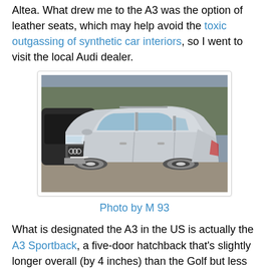Altea. What drew me to the A3 was the option of leather seats, which may help avoid the toxic outgassing of synthetic car interiors, so I went to visit the local Audi dealer.
[Figure (photo): Silver Audi A3 Sportback parked on a road, front-side view]
Photo by M 93
What is designated the A3 in the US is actually the A3 Sportback, a five-door hatchback that's slightly longer overall (by 4 inches) than the Golf but less large than the Jetta Sportwagon. A cello might fit in the A3's trunk more comfortably than in the back of a Golf, so I brought the cello to the dealership to check the fit.
As it turned out, I never did find out. Just asking for the A3 started me off on the wrong foot: the dealer told me that they